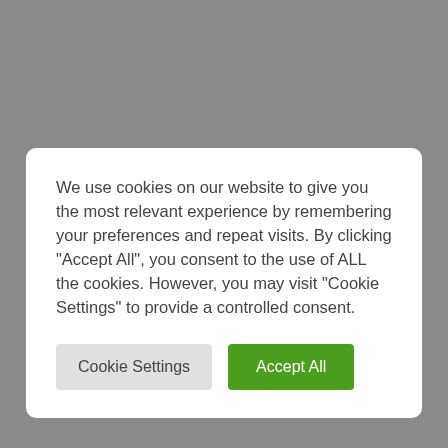We use cookies on our website to give you the most relevant experience by remembering your preferences and repeat visits. By clicking "Accept All", you consent to the use of ALL the cookies. However, you may visit "Cookie Settings" to provide a controlled consent.
Cookie Settings
Accept All